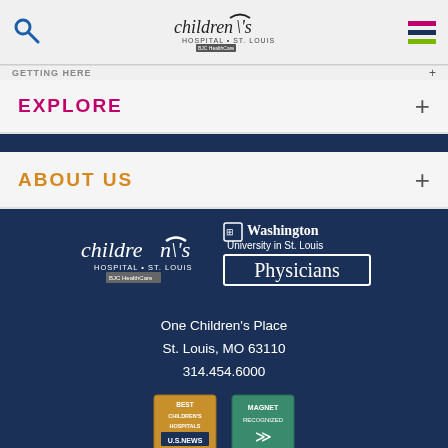GETTING HERE
[Figure (logo): Children's Hospital St. Louis BJC HealthCare logo in navigation bar]
EXPLORE
ABOUT US
[Figure (logo): Children's Hospital St. Louis BJC HealthCare white logo in footer]
[Figure (logo): Washington University in St. Louis Physicians logo in footer]
One Children's Place
St. Louis, MO 63110
314.454.6000
[Figure (logo): Best Children's Hospitals US News badge]
[Figure (logo): Magnet Recognized badge]